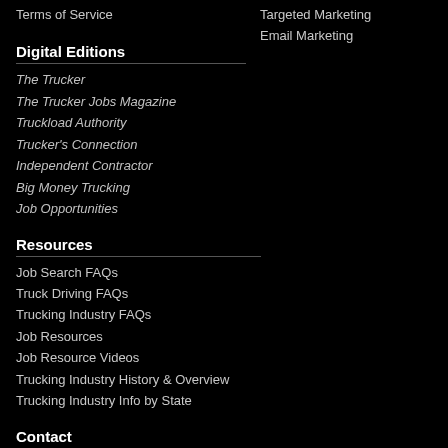Terms of Service
Targeted Marketing
Email Marketing
Digital Editions
The Trucker
The Trucker Jobs Magazine
Truckload Authority
Trucker's Connection
Independent Contractor
Big Money Trucking
Job Opportunities
Resources
Job Search FAQs
Truck Driving FAQs
Trucking Industry FAQs
Job Resources
Job Resource Videos
Trucking Industry History & Overview
Trucking Industry Info by State
Contact
Contact Information